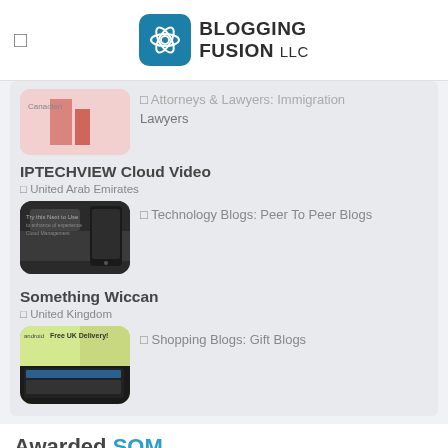BLOGGING FUSION LLC
Attorneys & Lawyers: Immigration Lawyers
IPTECHVIEW Cloud Video
United Arab Emirates
Technology Blogs: Peer To Peer Blogs
Something Wiccan
United Kingdom
Shopping Blogs: Gift Blogs
Awarded SOM